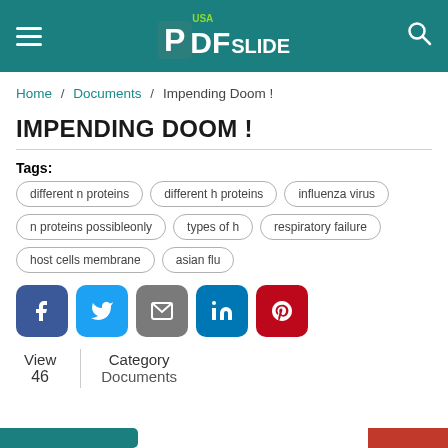PDFSlide USA
Home / Documents / Impending Doom !
IMPENDING DOOM !
Tags: different n proteins, different h proteins, influenza virus, n proteins possibleonly, types of h, respiratory failure, host cells membrane, asian flu
[Figure (other): Social share buttons: Facebook, Twitter, Email, LinkedIn, Pinterest]
View 46 | Category Documents